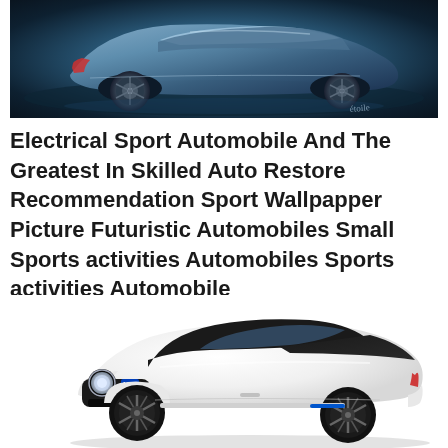[Figure (photo): Futuristic concept car render in blue-grey tones, showing rear/side view of a sleek sports car on a dark reflective surface. Cursive signature visible in lower right.]
Electrical Sport Automobile And The Greatest In Skilled Auto Restore Recommendation Sport Wallpapper Picture Futuristic Automobiles Small Sports activities Automobiles Sports activities Automobile
[Figure (photo): White Honda electric sports car concept (Honda Sports EV) shown in three-quarter front view on white background. Car features round headlights with Honda logo, black roof, and blue accent stripe.]